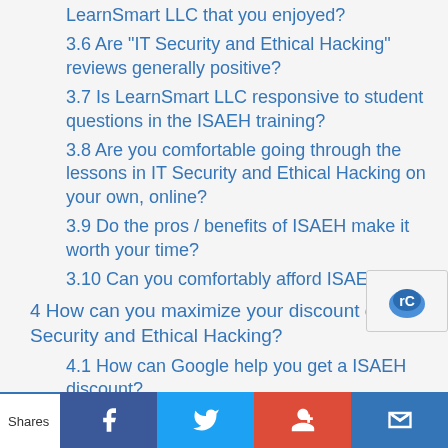LearnSmart LLC that you enjoyed?
3.6 Are "IT Security and Ethical Hacking" reviews generally positive?
3.7 Is LearnSmart LLC responsive to student questions in the ISAEH training?
3.8 Are you comfortable going through the lessons in IT Security and Ethical Hacking on your own, online?
3.9 Do the pros / benefits of ISAEH make it worth your time?
3.10 Can you comfortably afford ISAEH?
4 How can you maximize your discount on IT Security and Ethical Hacking?
4.1 How can Google help you get a ISAEH discount?
4.2 How can a Udemy sale get you ISAEH for cheaper?
4.3 How can you get a ISAEH discount from LearnSmart LLC?
Shares  [Facebook] [Twitter] [Google+] [Email]